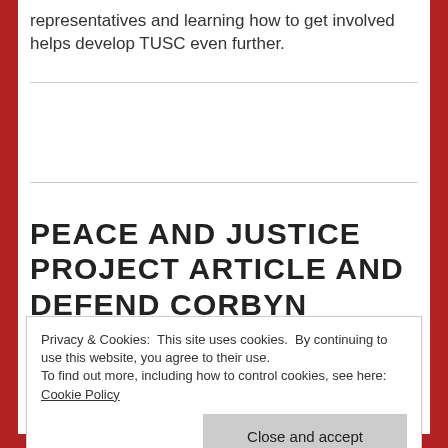representatives and learning how to get involved helps develop TUSC even further.
PEACE AND JUSTICE PROJECT ARTICLE AND DEFEND CORBYN PROTEST REPORT
Privacy & Cookies: This site uses cookies. By continuing to use this website, you agree to their use.
To find out more, including how to control cookies, see here: Cookie Policy
Close and accept
for socialist ideas. When Jeremy was suspended from